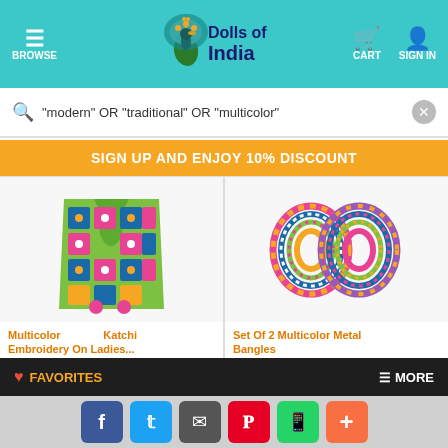[Figure (screenshot): Dolls of India e-commerce website header with teal background, hamburger/browse menu, peacock logo, cart and sign in icons]
"modern" OR "traditional" OR "multicolor"
SIGN UP AND ENJOY 10% DISCOUNT
[Figure (photo): Multicolor Katchi Embroidery ladies jacket/koti with green, blue, pink floral embroidery on white background]
Multicolor Katchi Embroidery On Ladies...
Item Code: RL86
Cotton
[Figure (photo): Set of 2 multicolor metal bangles stacked on white background]
Set Of 2 Multicolor Metal Bangles
Item Code: RF16
Metal
FAVORITES
MORE